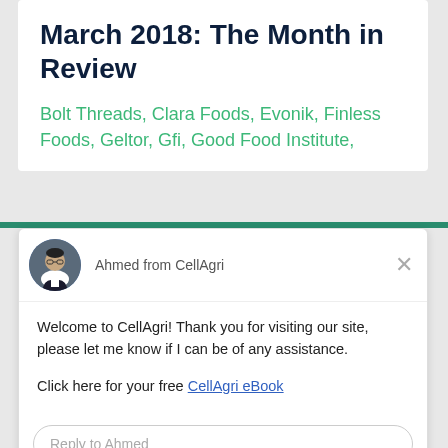March 2018: The Month in Review
Bolt Threads, Clara Foods, Evonik, Finless Foods, Geltor, Gfi, Good Food Institute,
[Figure (photo): Circular avatar photo of Ahmed from CellAgri, a man in a dark blazer with glasses, on a gray background]
Ahmed from CellAgri
Welcome to CellAgri! Thank you for visiting our site, please let me know if I can be of any assistance.
Click here for your free CellAgri eBook
Reply to Ahmed
Chat ⚡ by Drift